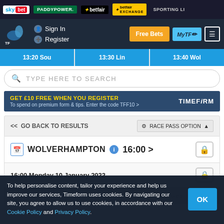sky bet | PADDYPOWER | betfair | betfair EXCHANGE | SPORTING LI...
[Figure (screenshot): Navigation bar with horse racing logo, Sign In and Register links, Free Bets button, MyTF button, and menu icon]
13:20 Sou | 13:30 Lin | 13:40 Wol
TYPE HERE TO SEARCH
GET £10 FREE WHEN YOU REGISTER
To spend on premium form & tips. Enter the code TFF10 > TIMEFORM
<< GO BACK TO RESULTS | RACE PASS OPTION ▲
WOLVERHAMPTON  16:00 >
16:00 Monday 10 January 2022
HANSTONBET BEST ODDS GUARANTEED APPRENTICE HANDICAP STAKES
To help personalise content, tailor your experience and help us improve our services, Timeform uses cookies. By navigating our site, you agree to allow us to use cookies, in accordance with our Cookie Policy and Privacy Policy.